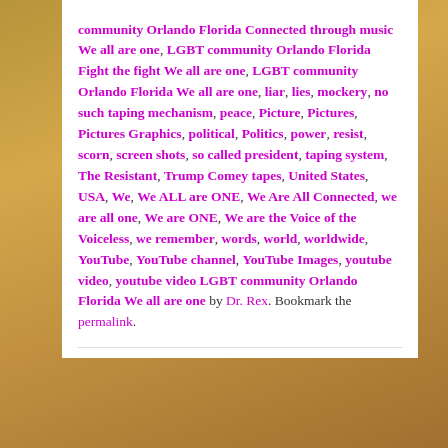community Orlando Florida Connected through music We all are one, LGBT community Orlando Florida Fight the fight We all are one, LGBT community Orlando Florida We all are one, liar, lies, mockery, no such taping mechanism, peace, Picture, Pictures, Pictures Graphics, political, Politics, power, resist, scorn, screen shots, so called president, taping system, The Resistant, Trump Comey tapes, United States, USA, We, We ALL are ONE, We Are All Connected, we are all one, We are ONE, We are the Voice of the Voiceless, we remember, words, world, worldwide, YouTube, YouTube channel, YouTube Images, youtube video, youtube video LGBT community Orlando Florida We all are one by Dr. Rex. Bookmark the permalink.
[Figure (photo): Small portrait photo of Dr. Rex, a person with short dark hair and glasses, wearing a light-colored top]
About Dr. Rex
I'm originally from Puerto Rico. I was born in Santurce and raised in Rio Piedras. Have lived in Florida since 1999. I have a doctorate degree in Medicine; completed in 1976. My Internal Medicine specialty was completed in 1979. Worked for Puerto Rico's health system until 1985. At this time, I'm happily retired after working for